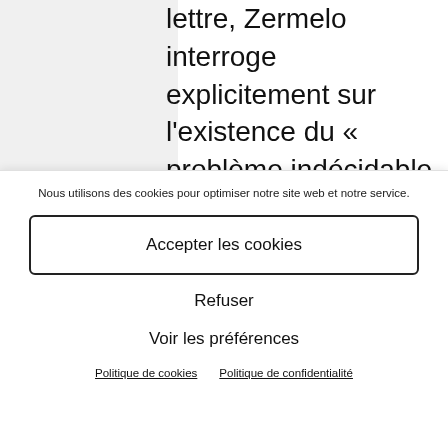lettre, Zermelo interroge explicitement sur l'existence du « problème indécidable » (vrai
Nous utilisons des cookies pour optimiser notre site web et notre service.
Accepter les cookies
Refuser
Voir les préférences
Politique de cookies  Politique de confidentialité